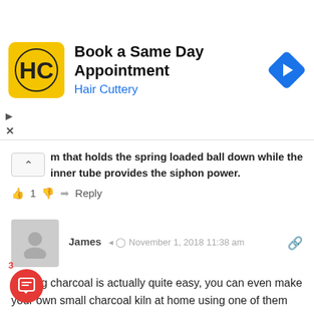[Figure (screenshot): Hair Cuttery advertisement banner with yellow logo, 'Book a Same Day Appointment' text, 'Hair Cuttery' subtitle in blue, and a blue navigation arrow icon on the right.]
m that holds the spring loaded ball down while the inner tube provides the siphon power.
👍 1 👎 ➜ Reply
[Figure (illustration): Gray default user avatar silhouette icon in a rounded square.]
James ◁ ⏱ November 1, 2018 11:38 am 🔗
Making charcoal is actually quite easy, you can even make your own small charcoal kiln at home using one of them metal drums. Make sure the lid is sealed and have some holes in the bottom, beneath where the firewood is and let it burn overnight.
The charcoal can be used as a fuel or used in making stuff like incense. :)